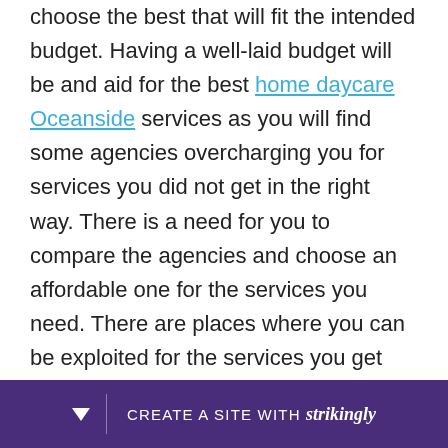choose the best that will fit the intended budget. Having a well-laid budget will be and aid for the best home daycare Oceanside services as you will find some agencies overcharging you for services you did not get in the right way. There is a need for you to compare the agencies and choose an affordable one for the services you need. There are places where you can be exploited for the services you get both in quality and the charges asked and that is why you should embrace caution. Finding a firm that will agree to work with you at the simplest terms you have for payment makes it easy for you to pay. Most likely, it is exce[llent] to deli[ver intended]
[Figure (other): Purple banner overlay at the bottom of the page with a downward arrow, a vertical divider, and the text 'CREATE A SITE WITH strikingly' in white.]